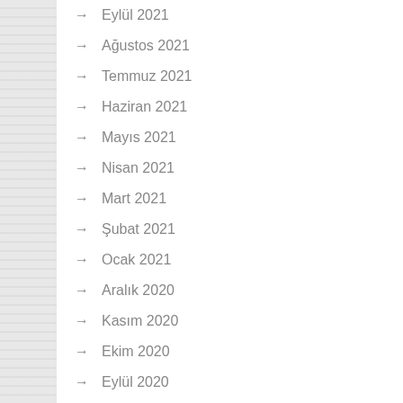Eylül 2021
Ağustos 2021
Temmuz 2021
Haziran 2021
Mayıs 2021
Nisan 2021
Mart 2021
Şubat 2021
Ocak 2021
Aralık 2020
Kasım 2020
Ekim 2020
Eylül 2020
Ağustos 2020
Temmuz 2020
Haziran 2020
Mayıs 2020